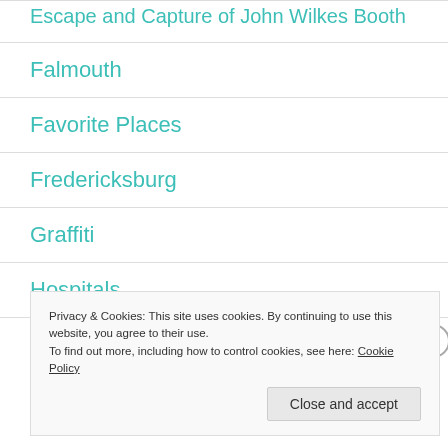Escape and Capture of John Wilkes Booth
Falmouth
Favorite Places
Fredericksburg
Graffiti
Hospitals
Privacy & Cookies: This site uses cookies. By continuing to use this website, you agree to their use. To find out more, including how to control cookies, see here: Cookie Policy
Close and accept